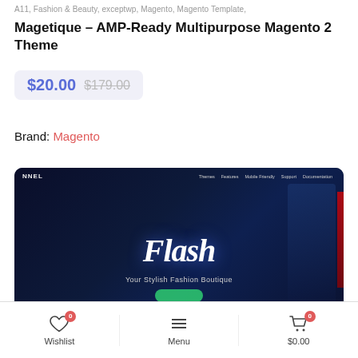A11, Fashion & Beauty, exceptwp, Magento, Magento Template,
Magetique – AMP-Ready Multipurpose Magento 2 Theme
$20.00 $179.00
Brand: Magento
[Figure (screenshot): Screenshot of Magetique Magento theme showing a dark fashion boutique website with the word 'Flash' and subtitle 'Your Stylish Fashion Boutique']
Wishlist 0  Menu  $0.00 0